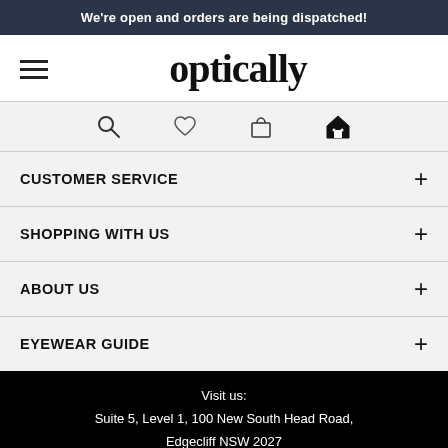We're open and orders are being dispatched!
optically
CUSTOMER SERVICE
SHOPPING WITH US
ABOUT US
EYEWEAR GUIDE
Visit us:
Suite 5, Level 1, 100 New South Head Road,
Edgecliff NSW 2027
ABN: 47 608 247 623
Cookies & Privacy | Terms & Conditions | Legal Disclaimer